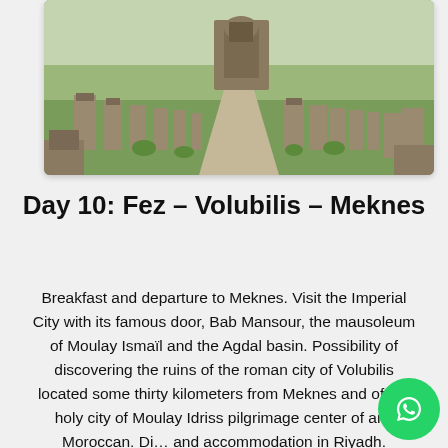[Figure (photo): Archaeological ruins of the Roman city of Volubilis, Morocco — rows of stone column bases and broken walls lining an ancient road, with green fields and a triumphal arch visible in the background under a bright sky.]
Day 10: Fez – Volubilis – Meknes
Breakfast and departure to Meknes. Visit the Imperial City with its famous door, Bab Mansour, the mausoleum of Moulay Ismaïl and the Agdal basin. Possibility of discovering the ruins of the roman city of Volubilis located some thirty kilometers from Meknes and of the holy city of Moulay Idriss pilgrimage center of any Moroccan. Di... and accommodation in Riyadh.